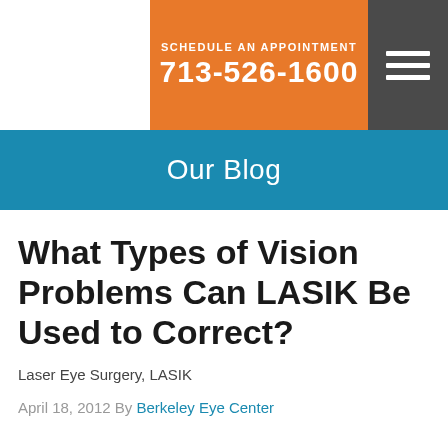SCHEDULE AN APPOINTMENT 713-526-1600
Our Blog
What Types of Vision Problems Can LASIK Be Used to Correct?
Laser Eye Surgery, LASIK
April 18, 2012 By Berkeley Eye Center